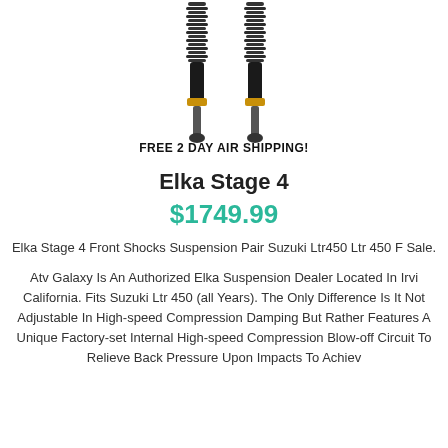[Figure (photo): Two Elka Stage 4 front shock absorbers with coil springs and gold accents, shown vertically. Text below reads FREE 2 DAY AIR SHIPPING!]
Elka Stage 4
$1749.99
Elka Stage 4 Front Shocks Suspension Pair Suzuki Ltr450 Ltr 450 F Sale.
Atv Galaxy Is An Authorized Elka Suspension Dealer Located In Irvi California. Fits Suzuki Ltr 450 (all Years). The Only Difference Is It Not Adjustable In High-speed Compression Damping But Rather Features A Unique Factory-set Internal High-speed Compression Blow-off Circuit To Relieve Back Pressure Upon Impacts To Achiev